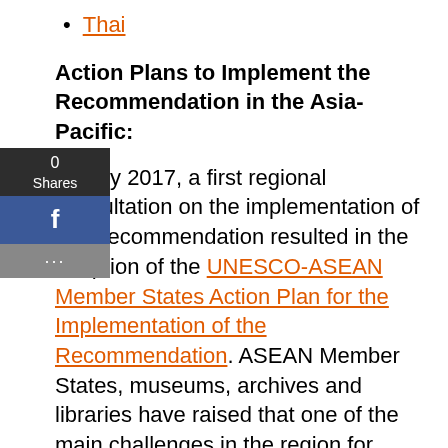Thai
Action Plans to Implement the Recommendation in the Asia-Pacific:
In May 2017, a first regional consultation on the implementation of the Recommendation resulted in the adoption of the UNESCO-ASEAN Member States Action Plan for the Implementation of the Recommendation. ASEAN Member States, museums, archives and libraries have raised that one of the main challenges in the region for safeguarding documentary heritage is the